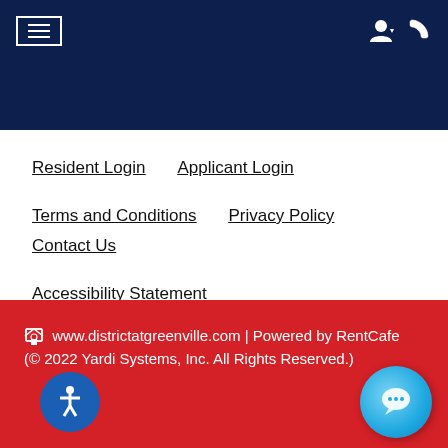Navigation bar with hamburger menu, user account icon, and phone icon
Resident Login
Applicant Login
Terms and Conditions
Privacy Policy
Contact Us
Accessibility Statement
www.districtatgreenville.com | Powered by RentCafe (© 2022 Yardi Systems, Inc. All Rights Reserved.)